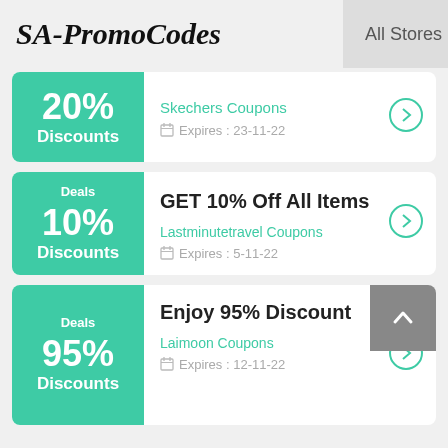SA-PromoCodes   All Stores
20% Discounts — Skechers Coupons — Expires: 23-11-22
Deals 10% Discounts — GET 10% Off All Items — Lastminutetravel Coupons — Expires: 5-11-22
Deals 95% Discounts — Enjoy 95% Discount — Laimoon Coupons — Expires: 12-11-22